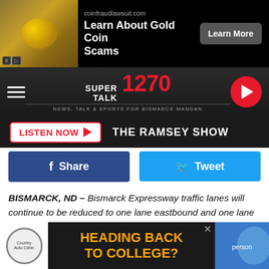[Figure (screenshot): Advertisement banner: coinfraudlawsuit.com - Learn About Gold Coin Scams with Learn More button]
[Figure (logo): Super Talk 1270 radio station logo with play button]
LISTEN NOW ▶  THE RAMSEY SHOW
[Figure (screenshot): Social sharing buttons: Share (Facebook) and Tweet (Twitter)]
BISMARCK, ND – Bismarck Expressway traffic lanes will continue to be reduced to one lane eastbound and one lane westbound on Bismarck Expressway between 3rd Street and 9th Street.
Repairs are being made to a major trunk water main
[Figure (screenshot): Bottom advertisement: Heading Back to College? - Country Auto Clinic]